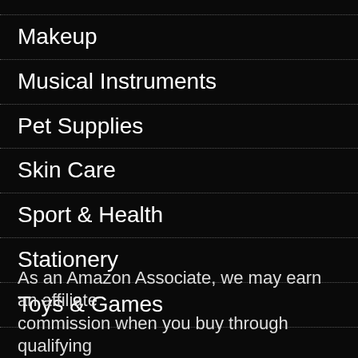Makeup
Musical Instruments
Pet Supplies
Skin Care
Sport & Health
Stationery
Toys & Games
As an Amazon Associate, we may earn an affiliate commission when you buy through qualifying